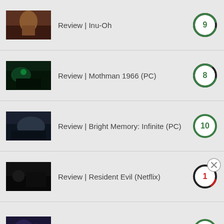Review | Inu-Oh
Review | Mothman 1966 (PC)
Review | Bright Memory: Infinite (PC)
Review | Resident Evil (Netflix)
Review | Kaguya-sama: Love Is War: Ultra Romantic
Advertisements
[Figure (infographic): WordPress.com advertisement banner: 'Simplified pricing for everything you need.' with WordPress logo]